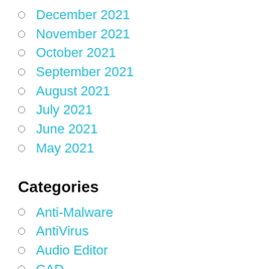December 2021
November 2021
October 2021
September 2021
August 2021
July 2021
June 2021
May 2021
Categories
Anti-Malware
AntiVirus
Audio Editor
CAD
Data Recovery